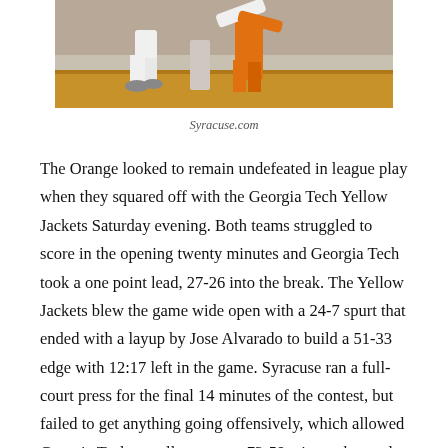[Figure (photo): Basketball game action photo showing players reaching for the ball on the court, one player in orange uniform (Syracuse)]
Syracuse.com
The Orange looked to remain undefeated in league play when they squared off with the Georgia Tech Yellow Jackets Saturday evening. Both teams struggled to score in the opening twenty minutes and Georgia Tech took a one point lead, 27-26 into the break. The Yellow Jackets blew the game wide open with a 24-7 spurt that ended with a layup by Jose Alvarado to build a 51-33 edge with 12:17 left in the game. Syracuse ran a full-court press for the final 14 minutes of the contest, but failed to get anything going offensively, which allowed Georgia Tech to pull away to a 73-59 win on the road.